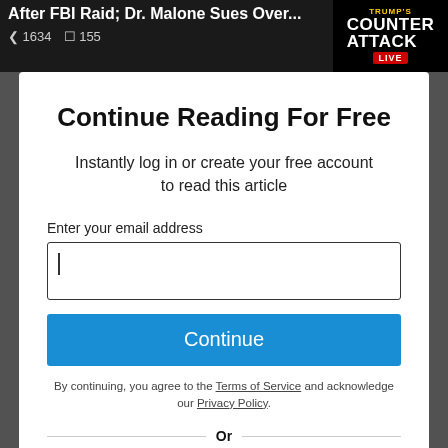After FBI Raid; Dr. Malone Sues Over...  ◁ 1634  □ 155
[Figure (screenshot): Trump's Counterattack LIVE advertisement banner in top right corner]
Continue Reading For Free
Instantly log in or create your free account to read this article
Enter your email address
Continue
By continuing, you agree to the Terms of Service and acknowledge our Privacy Policy.
Or
Continue with Google